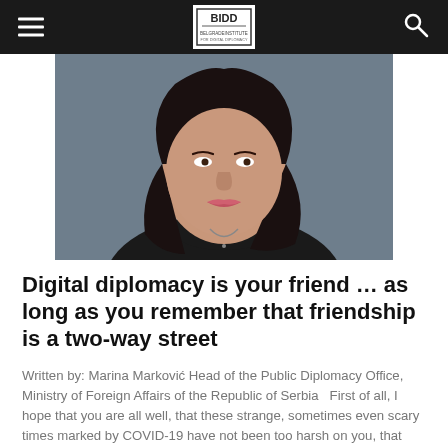BIDD — navigation bar with hamburger menu and search icon
[Figure (photo): Close-up portrait photo of a woman with dark curly hair wearing a dark turtleneck and necklace, photographed against a grey background, shown from shoulders up.]
Digital diplomacy is your friend … as long as you remember that friendship is a two-way street
Written by: Marina Marković Head of the Public Diplomacy Office, Ministry of Foreign Affairs of the Republic of Serbia   First of all, I hope that you are all well, that these strange, sometimes even scary times marked by COVID-19 have not been too harsh on you, that you and your close ones are all doing well, and that we shall soon have an opportunity to meet in person to do a proper EDDE (European Digital Diplomacy